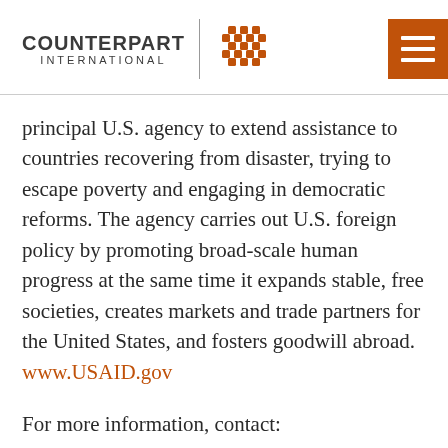[Figure (logo): Counterpart International logo with woven basket icon, vertical divider, and hamburger menu button in orange]
principal U.S. agency to extend assistance to countries recovering from disaster, trying to escape poverty and engaging in democratic reforms. The agency carries out U.S. foreign policy by promoting broad-scale human progress at the same time it expands stable, free societies, creates markets and trade partners for the United States, and fosters goodwill abroad. www.USAID.gov
For more information, contact: